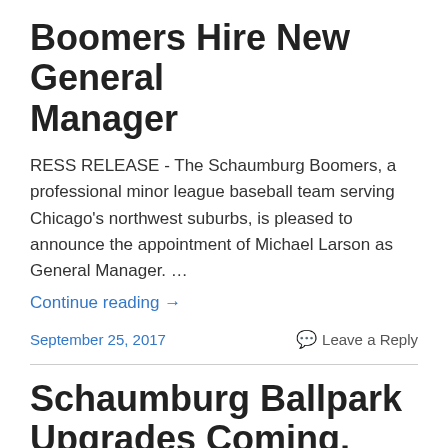Boomers Hire New General Manager
RESS RELEASE - The Schaumburg Boomers, a professional minor league baseball team serving Chicago's northwest suburbs, is pleased to announce the appointment of Michael Larson as General Manager. …
Continue reading →
September 25, 2017    Leave a Reply
Schaumburg Ballpark Upgrades Coming, Will be Phased in Over Time
A result at this month, an appeal through $10 millio…